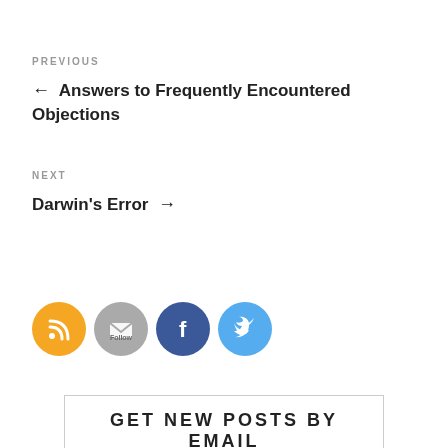PREVIOUS
← Answers to Frequently Encountered Objections
NEXT
Darwin's Error →
[Figure (illustration): Row of four social media icon buttons: RSS (orange), Follow/Email (gray), Facebook (blue), Twitter (light blue)]
GET NEW POSTS BY EMAIL